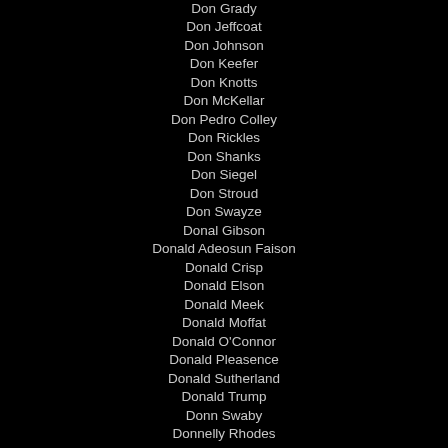Don Grady
Don Jeffcoat
Don Johnson
Don Keefer
Don Knotts
Don McKellar
Don Pedro Colley
Don Rickles
Don Shanks
Don Siegel
Don Stroud
Don Swayze
Donal Gibson
Donald Adeosun Faison
Donald Crisp
Donald Elson
Donald Meek
Donald Moffat
Donald O'Connor
Donald Pleasence
Donald Sutherland
Donald Trump
Donn Swaby
Donnelly Rhodes
Donnie Wahlberg
Donnie Yen
Donny Osmond
Donogh Rees
Donovan Leitch
Doodle Weaver